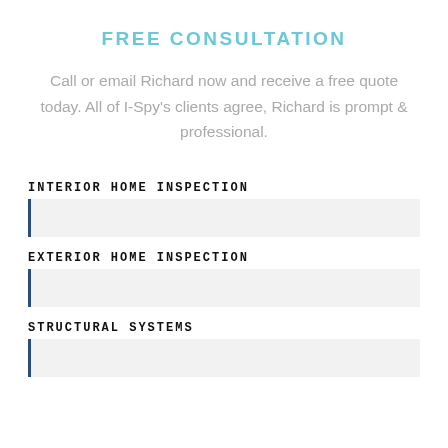FREE CONSULTATION
Call or email Richard now and receive a free quote today. All of I-Spy’s clients agree, Richard is prompt & professional.
INTERIOR HOME INSPECTION
EXTERIOR HOME INSPECTION
STRUCTURAL SYSTEMS